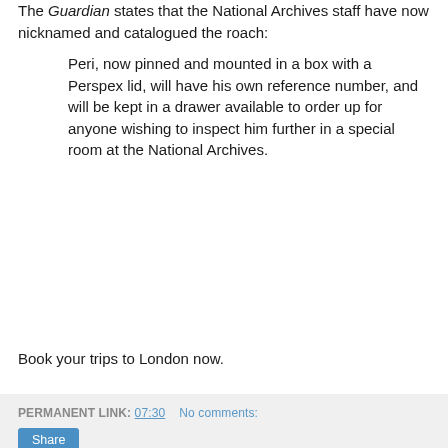The Guardian states that the National Archives staff have now nicknamed and catalogued the roach:
Peri, now pinned and mounted in a box with a Perspex lid, will have his own reference number, and will be kept in a drawer available to order up for anyone wishing to inspect him further in a special room at the National Archives.
Book your trips to London now.
PERMANENT LINK: 07:30   No comments:
Share
Wednesday, June 15, 2022
When Did Benjamin Franklin Fly His Kite?
Today, 15 June, is the anniversary of the date